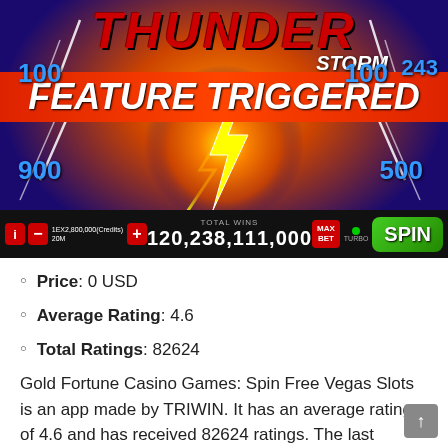[Figure (screenshot): Thunder Storm slot game screenshot showing 'FEATURE TRIGGERED' banner, lightning bolt symbol, numbers 100, 100, 243, 900, 500, and a bottom bar showing TOTAL WINS 120,238,111,000 with SPIN button]
Price: 0 USD
Average Rating: 4.6
Total Ratings: 82624
Gold Fortune Casino Games: Spin Free Vegas Slots is an app made by TRIWIN. It has an average rating of 4.6 and has received 82624 ratings. The last update